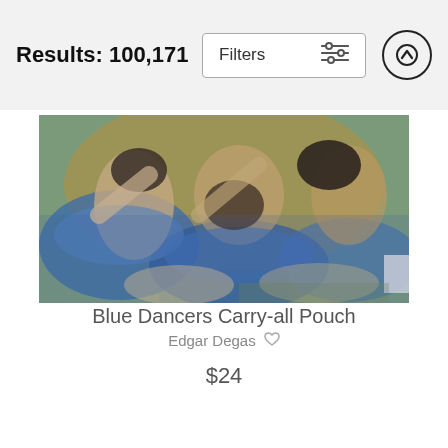Results: 100,171
[Figure (photo): Blue Dancers painting by Edgar Degas showing ballet dancers in blue tutus from above, impressionist style artwork on a carry-all pouch product image]
Blue Dancers Carry-all Pouch
Edgar Degas ♡
$24